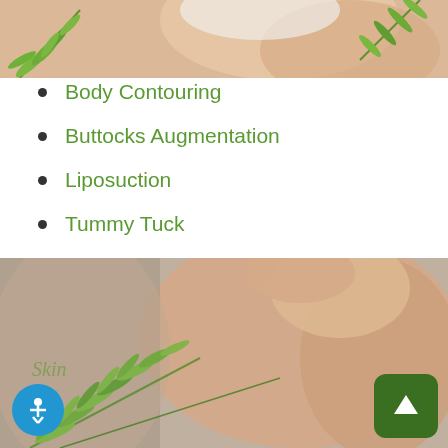[Figure (photo): Partial photo of a person in white underwear with green plant leaves overlay at top of page]
Body Contouring
Buttocks Augmentation
Liposuction
Tummy Tuck
[Figure (photo): Photo of a person's bare back/shoulder area with green plant leaves overlay and partial 'Skin' text watermark. Accessibility icon button (blue circle with person figure) in bottom left. Green rounded square up-arrow button in bottom right.]